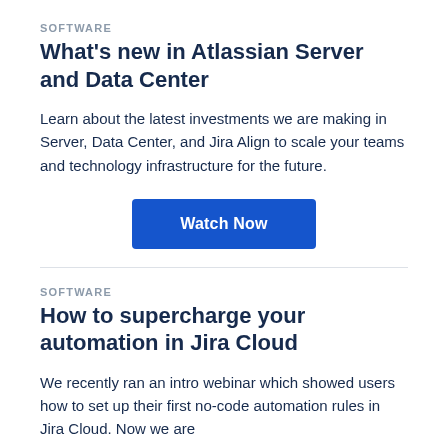SOFTWARE
What's new in Atlassian Server and Data Center
Learn about the latest investments we are making in Server, Data Center, and Jira Align to scale your teams and technology infrastructure for the future.
[Figure (other): Blue 'Watch Now' call-to-action button]
SOFTWARE
How to supercharge your automation in Jira Cloud
We recently ran an intro webinar which showed users how to set up their first no-code automation rules in Jira Cloud. Now we are